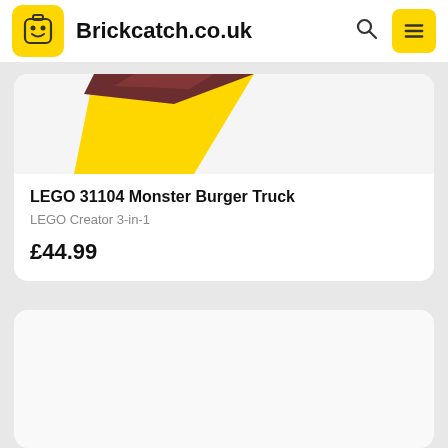Brickcatch.co.uk
[Figure (screenshot): Partial product image of LEGO 31104 Monster Burger Truck box, showing corner of yellow/dark red packaging]
LEGO 31104 Monster Burger Truck
LEGO Creator 3-in-1
£44.99
[Figure (screenshot): Second product card, showing empty/loading white area]